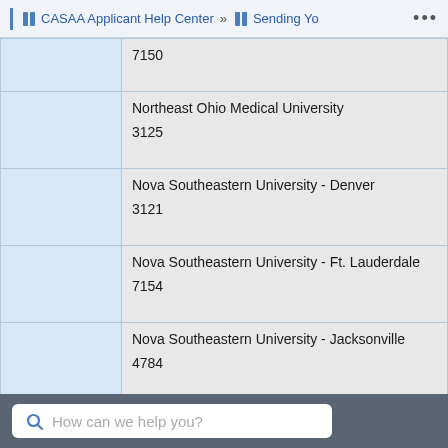CASAA Applicant Help Center » Sending Yo...
|  | Institution / Code |
| --- | --- |
|  | 7150 |
|  | Northeast Ohio Medical University
3125 |
|  | Nova Southeastern University - Denver
3121 |
|  | Nova Southeastern University - Ft. Lauderdale
7154 |
|  | Nova Southeastern University - Jacksonville
4784 |
|  | Nova Southeastern University - Tampa Bay
7149 |
|  | Ohio Dominican University |
How can we help you?